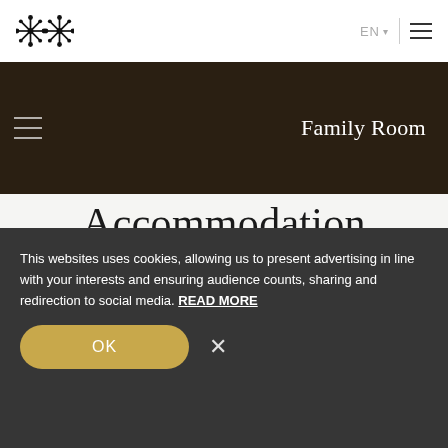EN [menu]
[Figure (screenshot): Hotel website screenshot showing a dark hero image labeled 'Family Room' with navigation hamburger and lines overlay]
Accommodation
Marrakech hotel rooms and suites
This websites uses cookies, allowing us to present advertising in line with your interests and ensuring audience counts, sharing and redirection to social media. READ MORE
OK